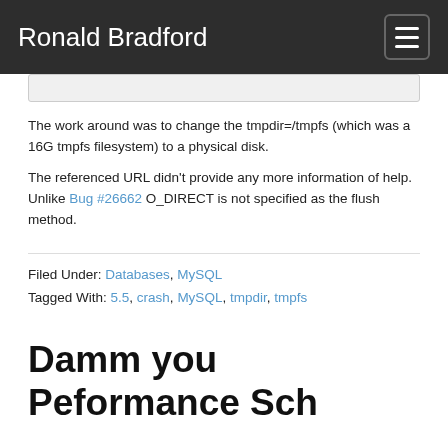Ronald Bradford
The work around was to change the tmpdir=/tmpfs (which was a 16G tmpfs filesystem) to a physical disk.
The referenced URL didn't provide any more information of help. Unlike Bug #26662 O_DIRECT is not specified as the flush method.
Filed Under: Databases, MySQL
Tagged With: 5.5, crash, MySQL, tmpdir, tmpfs
Damm you Peformance Sch…